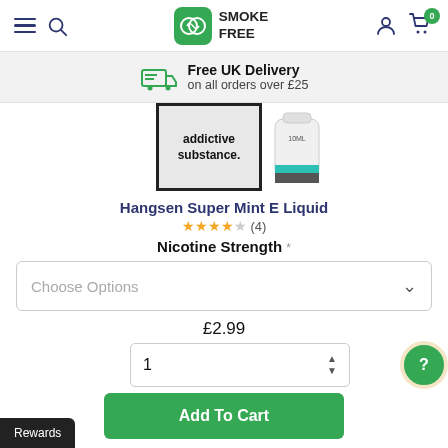Smoke Free - navigation bar with menu, search, logo, account, cart (0)
Free UK Delivery on all orders over £25
[Figure (photo): Product image strip showing a warning label reading 'addictive substance.' on a package and a 10ml e-liquid bottle with teal cap]
Hangsen Super Mint E Liquid
★★★★☆ (4)
Nicotine Strength *
Choose Options
£2.99
1
Add To Cart
Rewards